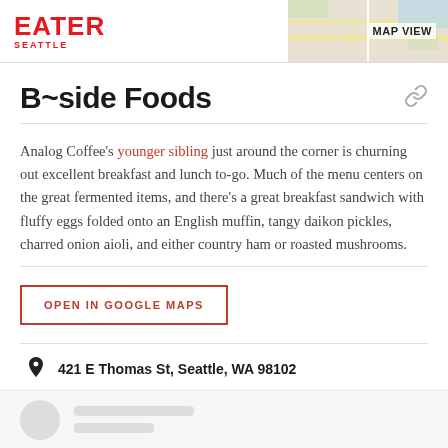EATER SEATTLE
B~side Foods
Analog Coffee's younger sibling just around the corner is churning out excellent breakfast and lunch to-go. Much of the menu centers on the great fermented items, and there's a great breakfast sandwich with fluffy eggs folded onto an English muffin, tangy daikon pickles, charred onion aioli, and either country ham or roasted mushrooms.
OPEN IN GOOGLE MAPS
421 E Thomas St, Seattle, WA 98102
Visit Website